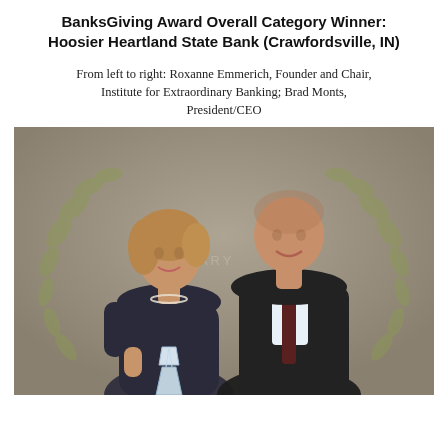BanksGiving Award Overall Category Winner: Hoosier Heartland State Bank (Crawfordsville, IN)
From left to right: Roxanne Emmerich, Founder and Chair, Institute for Extraordinary Banking; Brad Monts, President/CEO
[Figure (photo): Photo of two people standing and smiling: a woman on the left in a dark dress holding a crystal award trophy, and a man on the right in a dark suit with a dark tie. They are posing in front of a decorative background with a wreath/laurel design and partial text reading 'A...NARY'.]